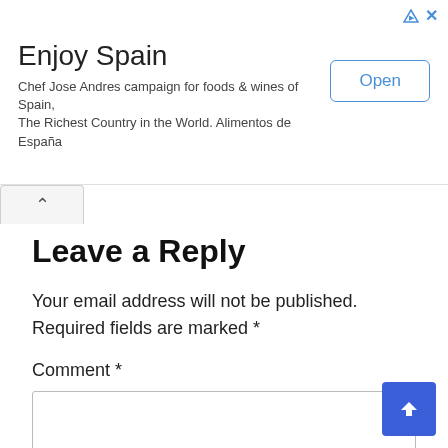[Figure (screenshot): Advertisement banner for 'Enjoy Spain' featuring Chef Jose Andres campaign for foods & wines of Spain, The Richest Country in the World. Alimentos de España, with an Open button]
Leave a Reply
Your email address will not be published. Required fields are marked *
Comment *